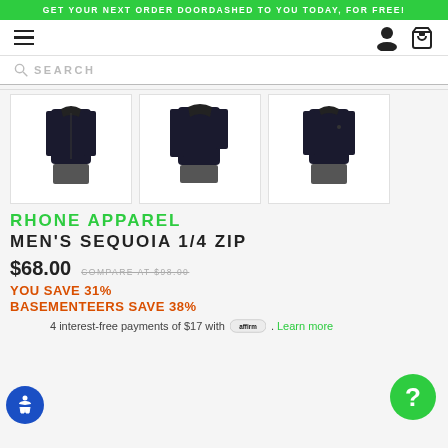GET YOUR NEXT ORDER DOORDASHED TO YOU TODAY, FOR FREE!
[Figure (screenshot): Three product thumbnail images of Rhone Apparel Men's Sequoia 1/4 Zip jacket in black, shown from front, three-quarter, and back views]
RHONE APPAREL MEN'S SEQUOIA 1/4 ZIP
$68.00 COMPARE AT $98.00
YOU SAVE 31%
BASEMENTEERS SAVE 38%
4 interest-free payments of $17 with affirm. Learn more